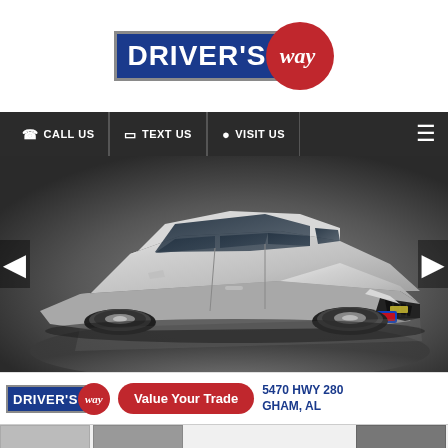[Figure (logo): Driver's Way logo — blue rectangle with white text 'DRIVER'S' and red circle with white italic 'way' script]
[Figure (other): Dark navigation bar with icons and text: phone icon CALL US, mobile icon TEXT US, pin icon VISIT US, hamburger menu icon on right]
[Figure (photo): Silver Chevrolet Malibu sedan photographed from front-left elevated angle in a studio with dark background, left and right navigation arrows visible]
[Figure (logo): Bottom banner showing small Driver's Way logo, red oval Value Your Trade button, and partial address text '5470 HWY 280 GHAM, AL']
[Figure (photo): Thumbnail strip at bottom showing partial vehicle photos]